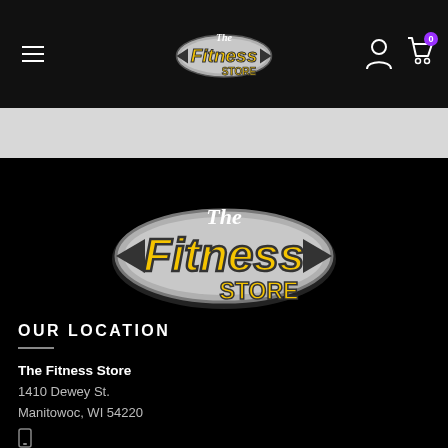[Figure (logo): The Fitness Store logo in navigation bar, yellow bold italic text on grey ellipse badge]
[Figure (logo): The Fitness Store large logo centered on black background, yellow bold italic text on grey ellipse with black shadow]
OUR LOCATION
The Fitness Store
1410 Dewey St.
Manitowoc, WI 54220